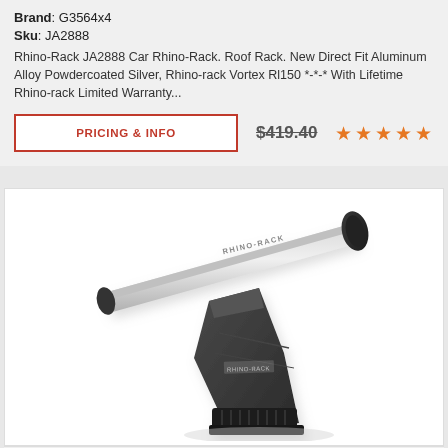Brand: G3564x4
Sku: JA2888
Rhino-Rack JA2888 Car Rhino-Rack. Roof Rack. New Direct Fit Aluminum Alloy Powdercoated Silver, Rhino-rack Vortex Rl150 *-*-* With Lifetime Rhino-rack Limited Warranty...
PRICING & INFO
$419.40
[Figure (photo): Rhino-Rack JA2888 roof rack product photo showing a silver aluminum crossbar with black mounting foot/leg assembly, angled view on white background]